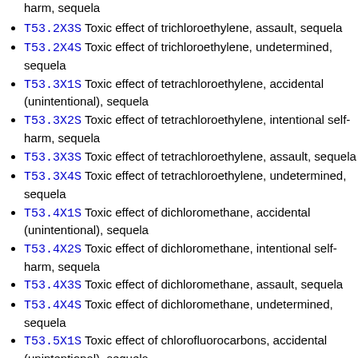harm, sequela
T53.2X3S Toxic effect of trichloroethylene, assault, sequela
T53.2X4S Toxic effect of trichloroethylene, undetermined, sequela
T53.3X1S Toxic effect of tetrachloroethylene, accidental (unintentional), sequela
T53.3X2S Toxic effect of tetrachloroethylene, intentional self-harm, sequela
T53.3X3S Toxic effect of tetrachloroethylene, assault, sequela
T53.3X4S Toxic effect of tetrachloroethylene, undetermined, sequela
T53.4X1S Toxic effect of dichloromethane, accidental (unintentional), sequela
T53.4X2S Toxic effect of dichloromethane, intentional self-harm, sequela
T53.4X3S Toxic effect of dichloromethane, assault, sequela
T53.4X4S Toxic effect of dichloromethane, undetermined, sequela
T53.5X1S Toxic effect of chlorofluorocarbons, accidental (unintentional), sequela
T53.5X2S (partial, cut off)